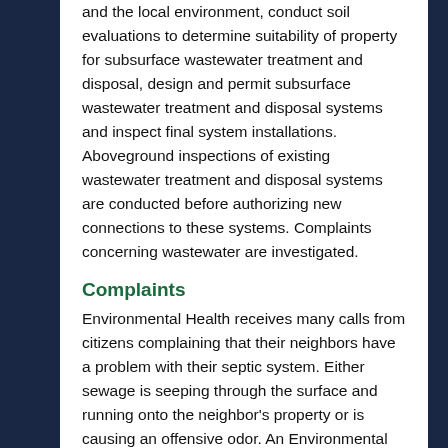and the local environment, conduct soil evaluations to determine suitability of property for subsurface wastewater treatment and disposal, design and permit subsurface wastewater treatment and disposal systems and inspect final system installations. Aboveground inspections of existing wastewater treatment and disposal systems are conducted before authorizing new connections to these systems. Complaints concerning wastewater are investigated.
Complaints
Environmental Health receives many calls from citizens complaining that their neighbors have a problem with their septic system. Either sewage is seeping through the surface and running onto the neighbor's property or is causing an offensive odor. An Environmental Health Specialist responds to all complaints and takes appropriate action.
Existing System